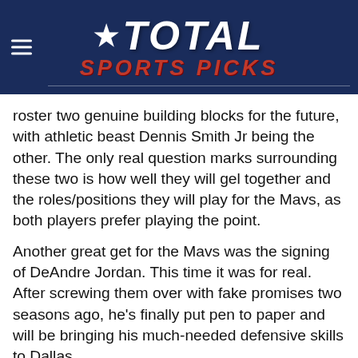Total Sports Picks
roster two genuine building blocks for the future, with athletic beast Dennis Smith Jr being the other. The only real question marks surrounding these two is how well they will gel together and the roles/positions they will play for the Mavs, as both players prefer playing the point.
Another great get for the Mavs was the signing of DeAndre Jordan. This time it was for real. After screwing them over with fake promises two seasons ago, he's finally put pen to paper and will be bringing his much-needed defensive skills to Dallas.
There were no significant departures in what was a successful off-season for the Dallas Mavericks.